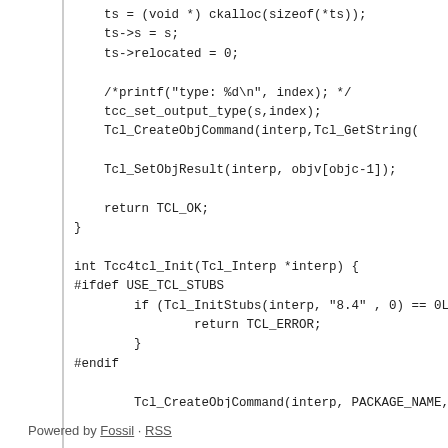Code block showing C source: ts = (void *) ckalloc(sizeof(*ts)); ts->s = s; ts->relocated = 0; /*printf("type: %d\n", index); */ tcc_set_output_type(s,index); Tcl_CreateObjCommand(interp,Tcl_GetString( Tcl_SetObjResult(interp, objv[objc-1]); return TCL_OK; } int Tcc4tcl_Init(Tcl_Interp *interp) { #ifdef USE_TCL_STUBS if (Tcl_InitStubs(interp, "8.4" , 0) == 0L return TCL_ERROR; } #endif Tcl_CreateObjCommand(interp, PACKAGE_NAME, Tcl_PkgProvide(interp, PACKAGE_NAME, PACKA( return TCL_OK; }
Powered by Fossil · RSS